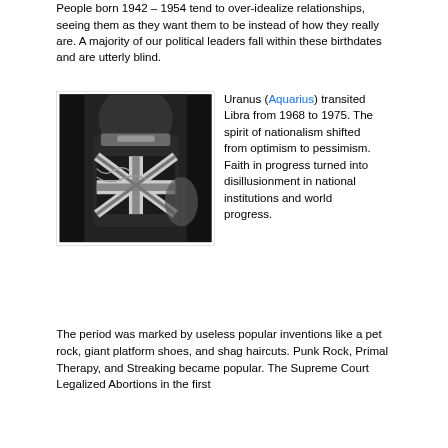People born 1942 – 1954 tend to over-idealize relationships, seeing them as they want them to be instead of how they really are. A majority of our political leaders fall within these birthdates and are utterly blind.
[Figure (photo): Black and white photograph showing the back of a person wearing a jacket with a Union Jack (British flag) design, with chains visible.]
Uranus (Aquarius) transited Libra from 1968 to 1975. The spirit of nationalism shifted from optimism to pessimism. Faith in progress turned into disillusionment in national institutions and world progress. The period was marked by useless popular inventions like a pet rock, giant platform shoes, and shag haircuts. Punk Rock, Primal Therapy, and Streaking became popular. The Supreme Court Legalized Abortions in the first